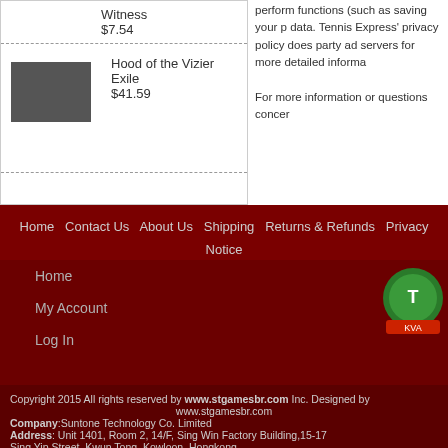Witness
$7.54
[Figure (photo): Small product image placeholder (dark rectangle)]
Hood of the Vizier Exile
$41.59
perform functions (such as saving your p... data. Tennis Express' privacy policy does... party ad servers for more detailed informa...

For more information or questions concer...
Home
Contact Us
About Us
Shipping
Returns & Refunds
Privacy Notice
Terms of Use
Home
My Account
Log In
Copyright 2015 All rights reserved by www.stgamesbr.com Inc. Designed by www.stgamesbr.com
Company:Suntone Technology Co. Limited
Address: Unit 1401, Room 2, 14/F, Sing Win Factory Building,15-17 Sing Yip Street, Kwun Tong, Kowloon, Hongkong